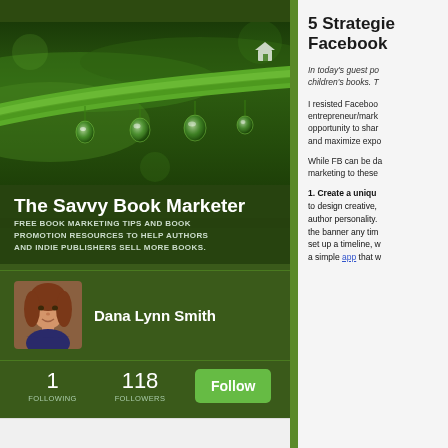[Figure (photo): Close-up photo of a green plant stem with water droplets hanging from it, on a dark green background]
The Savvy Book Marketer
FREE BOOK MARKETING TIPS AND BOOK PROMOTION RESOURCES TO HELP AUTHORS AND INDIE PUBLISHERS SELL MORE BOOKS.
[Figure (photo): Profile photo of Dana Lynn Smith, a woman with auburn hair]
Dana Lynn Smith
1 FOLLOWING   118 FOLLOWERS   Follow
5 Strategies Facebook
In today's guest po children's books. T
I resisted Facebook entrepreneur/mark opportunity to shar and maximize expo
While FB can be da marketing to these
1.  Create a uniqu to design creative, author personality. the banner any tim set up a timeline, w a simple app that w